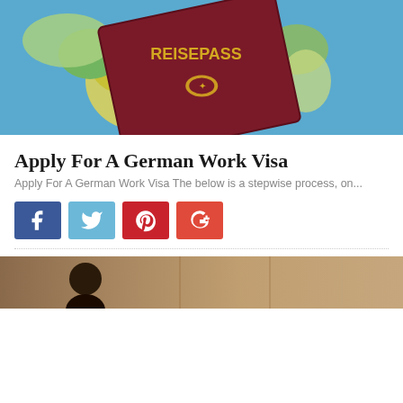[Figure (photo): German Reisepass (passport) lying on a colorful world map]
Apply For A German Work Visa
Apply For A German Work Visa The below is a stepwise process, on...
[Figure (infographic): Social share buttons: Facebook, Twitter, Pinterest, Google+]
[Figure (photo): Photo of a person in an industrial or warehouse setting]